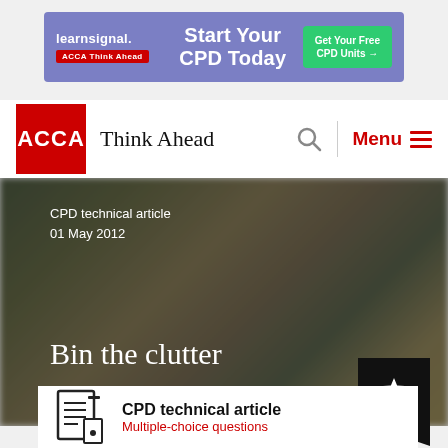[Figure (screenshot): Learnsignal advertisement banner: purple background with 'Start Your CPD Today' in white bold text and a green 'Get Your Free CPD Units' button on the right. ACCA logo on the left.]
ACCA Think Ahead
[Figure (photo): Blurred background photo (apparent desk/office scene) overlaid with text: 'CPD technical article', '01 May 2012', and large heading 'Bin the clutter']
CPD technical article
01 May 2012
Bin the clutter
CPD technical article
Multiple-choice questions
1  Unit